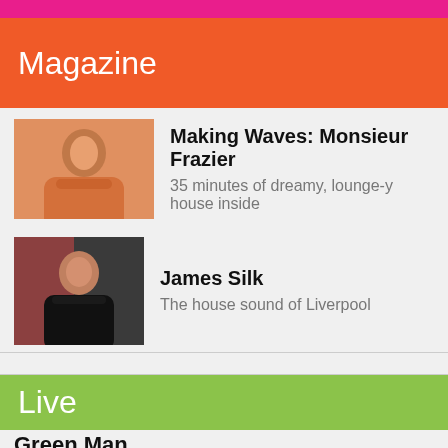Magazine
Making Waves: Monsieur Frazier
35 minutes of dreamy, lounge-y house inside
MODEM
Germany's freshest melodic techno duo
James Silk
The house sound of Liverpool
Live
Green Man